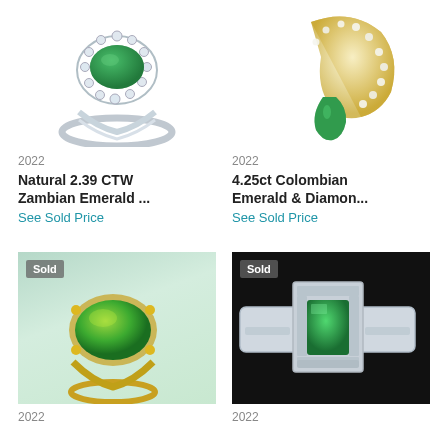[Figure (photo): Silver ring with large oval green emerald surrounded by diamond halo]
2022
Natural 2.39 CTW Zambian Emerald ...
See Sold Price
[Figure (photo): Gold ring with pear-shaped green emerald and diamond-encrusted band]
2022
4.25ct Colombian Emerald & Diamon...
See Sold Price
[Figure (photo): Gold ring with large oval green cabochon emerald, green blurred background, Sold badge]
2022
[Figure (photo): White gold men's ring with square emerald center stone surrounded by diamonds, dark background, Sold badge]
2022